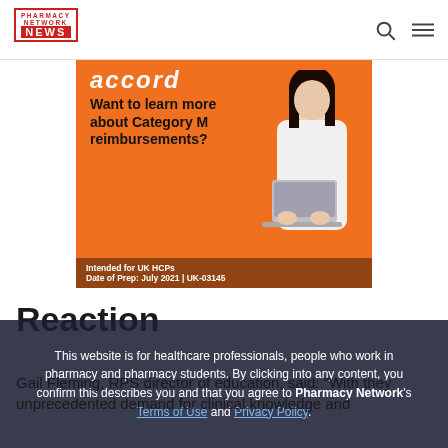[Figure (logo): Pharmacy Network News logo — red border box with PHARMACY NETWORK in red and NEWS on red background in white]
[Figure (advertisement): Accord orange advertisement banner: 'accord — Want to learn more about Category M reimbursements?' with a woman in white coat at laptop. Bottom bar: 'Intended for UK HCPs | Date of Prep: July 2021 | UK-03145']
Reaction
This website is for healthcare professionals, people who work in pharmacy and pharmacy students. By clicking into any content, you confirm this describes you and that you agree to Pharmacy Network's Terms of Use and Privacy Policy.
Gail Fleming, RPS director of education, said: "With the... unprecedented demand for clinical knowledge and